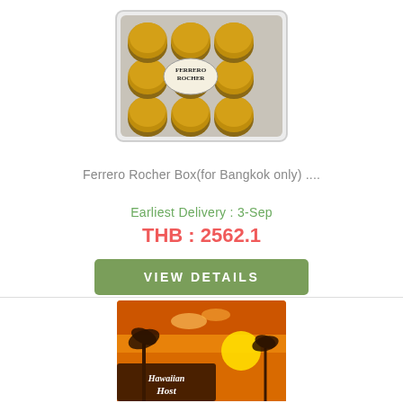[Figure (photo): Ferrero Rocher chocolate box with gold foil wrapped chocolates in a clear plastic case]
Ferrero Rocher Box(for Bangkok only) ....
Earliest Delivery : 3-Sep
THB : 2562.1
VIEW DETAILS
[Figure (photo): Hawaiian Host macadamia chocolate product box with tropical sunset and palm tree design]